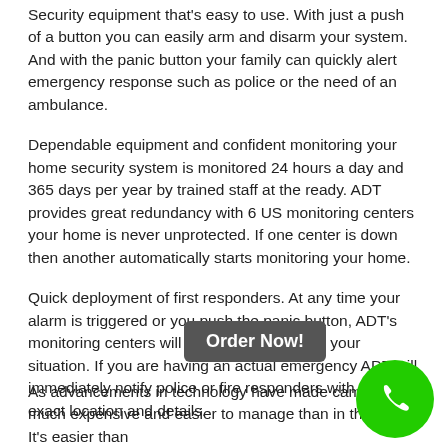Security equipment that's easy to use. With just a push of a button you can easily arm and disarm your system. And with the panic button your family can quickly alert emergency response such as police or the need of an ambulance.
Dependable equipment and confident monitoring your home security system is monitored 24 hours a day and 365 days per year by trained staff at the ready. ADT provides great redundancy with 6 US monitoring centers your home is never unprotected. If one center is down then another automatically starts monitoring your home.
Quick deployment of first responders. At any time your alarm is triggered or you push the panic button, ADT's monitoring centers will quickly try and verify your situation. If you are having an actual emergency ADT will immediately notify police or fire responders with your exact location and details.
As advancements in technology have made cameras much expensive and easier to manage than in the past. It's easier than